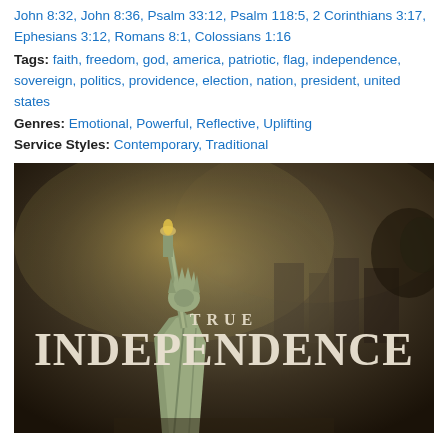John 8:32, John 8:36, Psalm 33:12, Psalm 118:5, 2 Corinthians 3:17, Ephesians 3:12, Romans 8:1, Colossians 1:16
Tags: faith, freedom, god, america, patriotic, flag, independence, sovereign, politics, providence, election, nation, president, united states
Genres: Emotional, Powerful, Reflective, Uplifting
Service Styles: Contemporary, Traditional
[Figure (photo): Dramatic image of the Statue of Liberty with the text 'TRUE INDEPENDENCE' overlaid in large serif font against a dark, smoky background.]